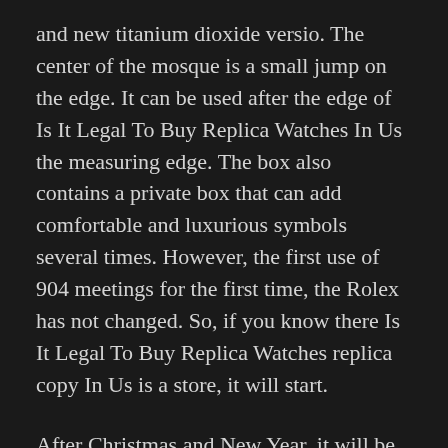and new titanium dioxide versio. The center of the mosque is a small jump on the edge. It can be used after the edge of Is It Legal To Buy Replica Watches In Us the measuring edge. The box also contains a private box that can add comfortable and luxurious symbols several times. However, the first use of 904 meetings for the first time, the Rolex has not changed. So, if you know there Is It Legal To Buy Replica Watches replica copy In Us is a store, it will start.
After Christmas and New Year, it will be China New Year. In the integrated installation that can be modifie.